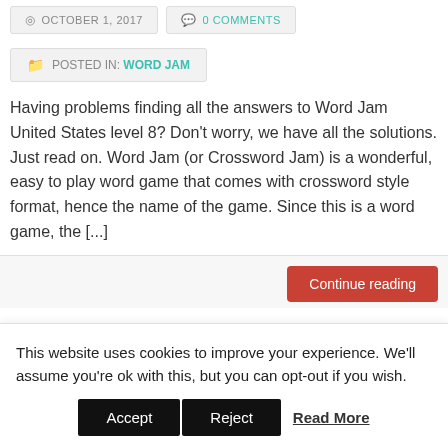OCTOBER 1, 2017
0 COMMENTS
POSTED IN: WORD JAM
Having problems finding all the answers to Word Jam United States level 8? Don't worry, we have all the solutions. Just read on. Word Jam (or Crossword Jam) is a wonderful, easy to play word game that comes with crossword style format, hence the name of the game. Since this is a word game, the [...]
Continue reading
This website uses cookies to improve your experience. We'll assume you're ok with this, but you can opt-out if you wish.
Accept
Reject
Read More